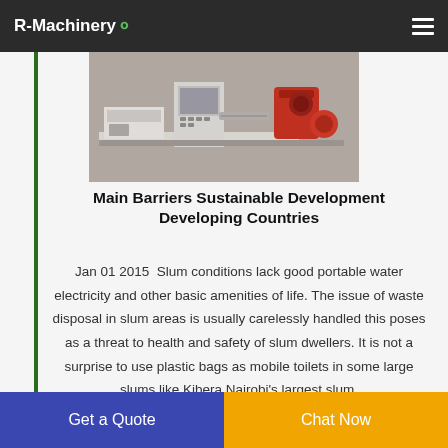R-Machinery
[Figure (photo): Industrial machinery equipment showing recycling/processing machines with control panel, conveyor, and shredder on a factory floor.]
Main Barriers Sustainable Development Developing Countries
Jan 01 2015  Slum conditions lack good portable water electricity and other basic amenities of life. The issue of waste disposal in slum areas is usually carelessly handled this poses as a threat to health and safety of slum dwellers. It is not a surprise to use plastic bags as mobile toilets in some large slums like Kibera Nairobi's largest slum.
Get a Quote
Chat Now